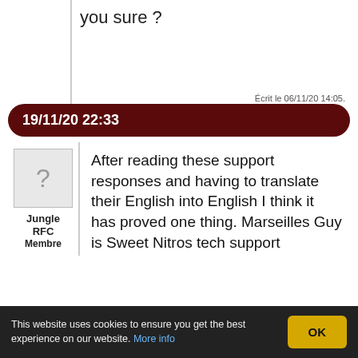you sure ?
Écrit le 06/11/20 14:05.
19/11/20 22:33
Jungle RFC
Membre
After reading these support responses and having to translate their English into English I think it has proved one thing. Marseilles Guy is Sweet Nitros tech support
Écrit le 19/11/20 22:33.
20/11/20 20:40
Jungle RFC :
After reading these support...
This website uses cookies to ensure you get the best experience on our website. More info